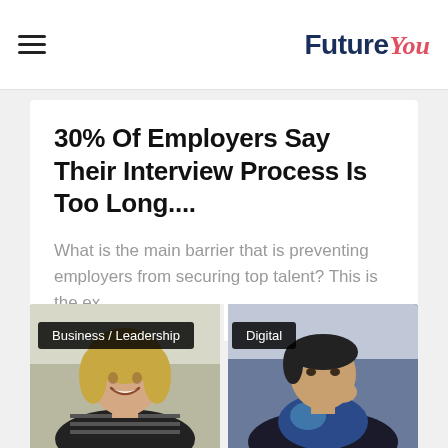FutureYou
30% Of Employers Say Their Interview Process Is Too Long....
What is the main barrier that is preventing employers from securing top talent? This is the ex...
[Figure (photo): Two people on a video call. Left: smiling blonde woman in striped shirt. Right: man in dark hoodie with hand near face. Category tags 'Business / Leadership' and 'Digital' overlaid on image.]